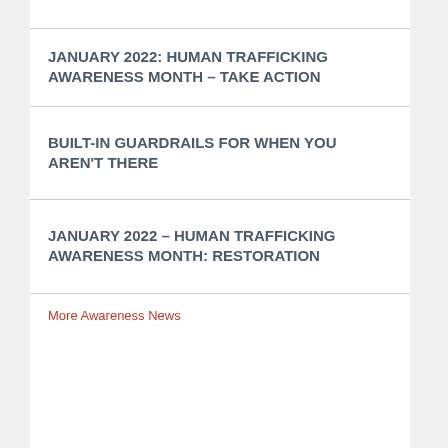JANUARY 2022: HUMAN TRAFFICKING AWARENESS MONTH – TAKE ACTION
BUILT-IN GUARDRAILS FOR WHEN YOU AREN'T THERE
JANUARY 2022 – HUMAN TRAFFICKING AWARENESS MONTH: RESTORATION
More Awareness News